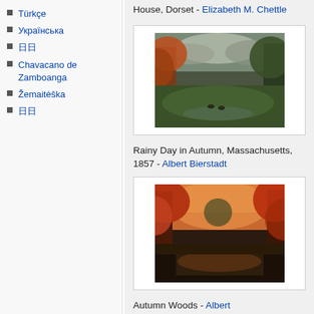Türkçe
Українська
日日
Chavacano de Zamboanga
Žemaitėška
日日
House, Dorset - Elizabeth M. Chettle
[Figure (photo): Painting of a rainy autumn landscape in Massachusetts, 1857, with trees and overcast sky]
Rainy Day in Autumn, Massachusetts, 1857 - Albert Bierstadt
[Figure (photo): Painting of autumn woods with red trees reflected in water at sunset]
Autumn Woods - Albert